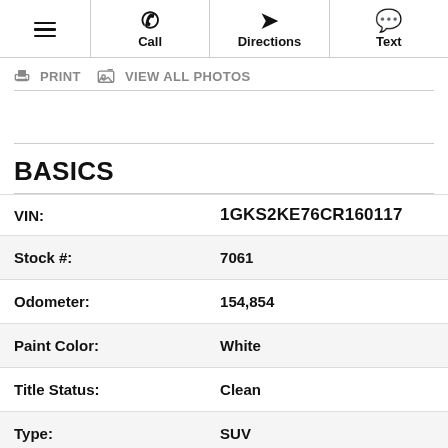☰  Call  Directions  Text
🖨 PRINT   🖼 VIEW ALL PHOTOS
BASICS
| Field | Value |
| --- | --- |
| VIN: | 1GKS2KE76CR160117 |
| Stock #: | 7061 |
| Odometer: | 154,854 |
| Paint Color: | White |
| Title Status: | Clean |
| Type: | SUV |